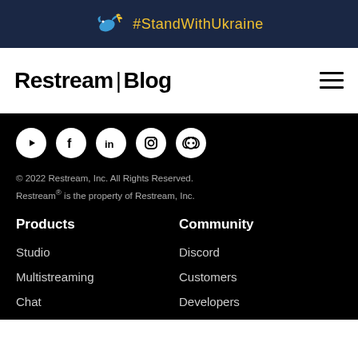#StandWithUkraine
Restream | Blog
[Figure (logo): Social media icons: YouTube, Facebook, LinkedIn, Instagram, Discord]
© 2022 Restream, Inc. All Rights Reserved.
Restream® is the property of Restream, Inc.
Products
Community
Studio
Discord
Multistreaming
Customers
Chat
Developers